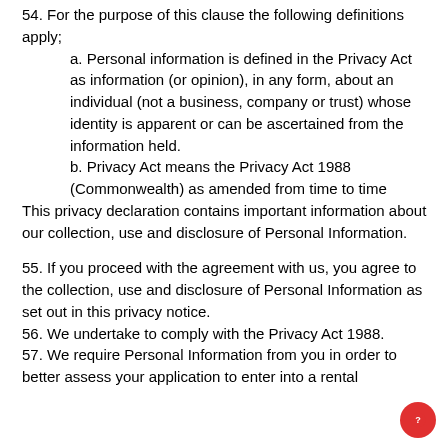54. For the purpose of this clause the following definitions apply;
a. Personal information is defined in the Privacy Act as information (or opinion), in any form, about an individual (not a business, company or trust) whose identity is apparent or can be ascertained from the information held.
b. Privacy Act means the Privacy Act 1988 (Commonwealth) as amended from time to time
This privacy declaration contains important information about our collection, use and disclosure of Personal Information.
55. If you proceed with the agreement with us, you agree to the collection, use and disclosure of Personal Information as set out in this privacy notice.
56. We undertake to comply with the Privacy Act 1988.
57. We require Personal Information from you in order to better assess your application to enter into a rental